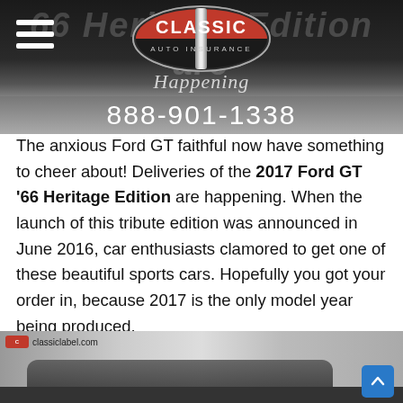Classic Auto Insurance — Happening — 888-901-1338
The anxious Ford GT faithful now have something to cheer about! Deliveries of the 2017 Ford GT '66 Heritage Edition are happening. When the launch of this tribute edition was announced in June 2016, car enthusiasts clamored to get one of these beautiful sports cars. Hopefully you got your order in, because 2017 is the only model year being produced.
[Figure (photo): Photo of a black Ford GT sports car in a showroom or garage setting, with classiclabel showing classiclabel.com watermark and a blue scroll-to-top button in the lower right corner.]